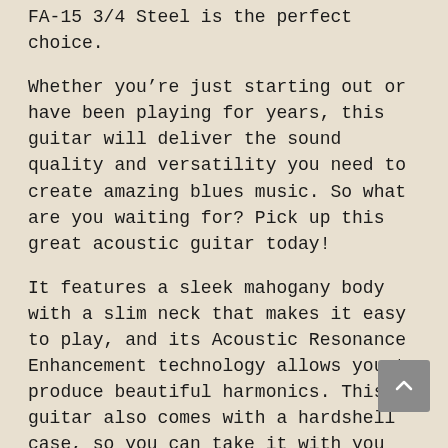FA-15 3/4 Steel is the perfect choice.
Whether you’re just starting out or have been playing for years, this guitar will deliver the sound quality and versatility you need to create amazing blues music. So what are you waiting for? Pick up this great acoustic guitar today!
It features a sleek mahogany body with a slim neck that makes it easy to play, and its Acoustic Resonance Enhancement technology allows you to produce beautiful harmonics. This guitar also comes with a hardshell case, so you can take it with you wherever you go.
Pr...